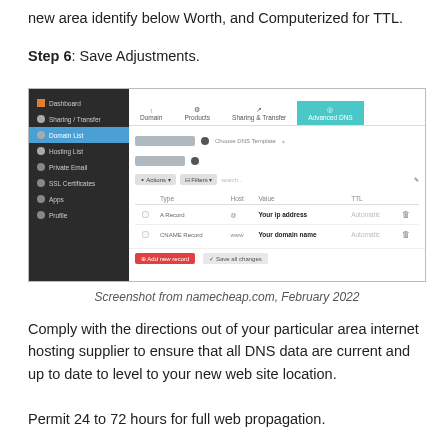new area identify below Worth, and Computerized for TTL.
Step 6: Save Adjustments.
[Figure (screenshot): Screenshot of namecheap.com Advanced DNS settings panel showing DNS records with 'Your ip address' and 'Your domain name' entries, with sidebar navigation and tab bar including Domains, Products, Sharing & Transfer, and Advanced DNS tabs.]
Screenshot from namecheap.com, February 2022
Comply with the directions out of your particular area internet hosting supplier to ensure that all DNS data are current and up to date to level to your new web site location.
Permit 24 to 72 hours for full web propagation.